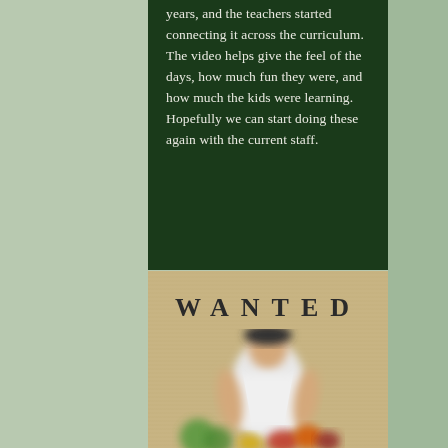years, and the teachers started connecting it across the curriculum. The video helps give the feel of the days, how much fun they were, and how much the kids were learning. Hopefully we can start doing these again with the current staff.
[Figure (photo): A blurred 'Wanted' poster style image on a tan/kraft paper background. The word 'WANTED' appears at the top in bold dark letters with wide letter-spacing. Below is a blurred figure of a person, partially visible, with colorful elements at the bottom suggesting produce or items.]